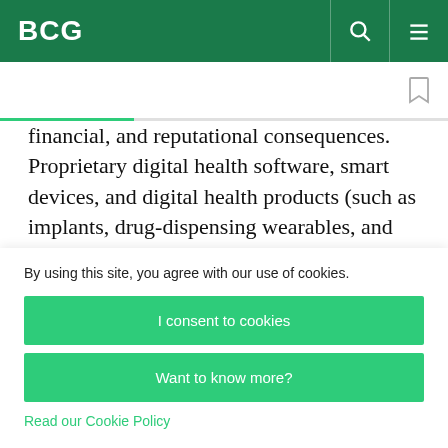BCG
financial, and reputational consequences. Proprietary digital health software, smart devices, and digital health products (such as implants, drug-dispensing wearables, and digital therapeutics) are becoming increasingly important competitive
By using this site, you agree with our use of cookies.
I consent to cookies
Want to know more?
Read our Cookie Policy